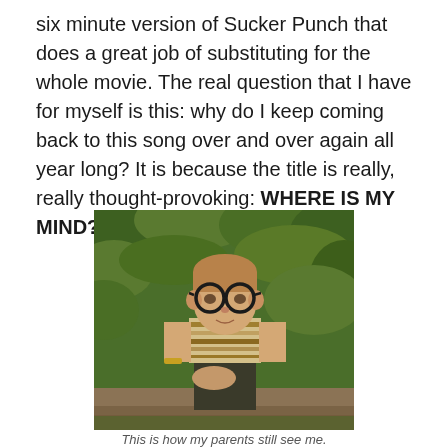six minute version of Sucker Punch that does a great job of substituting for the whole movie. The real question that I have for myself is this: why do I keep coming back to this song over and over again all year long? It is because the title is really, really thought-provoking: WHERE IS MY MIND?
[Figure (photo): A young boy with glasses wearing a striped yellow and white t-shirt, sitting on what appears to a wooden bench or log, with green foliage in the background. Vintage-style photograph.]
This is how my parents still see me.